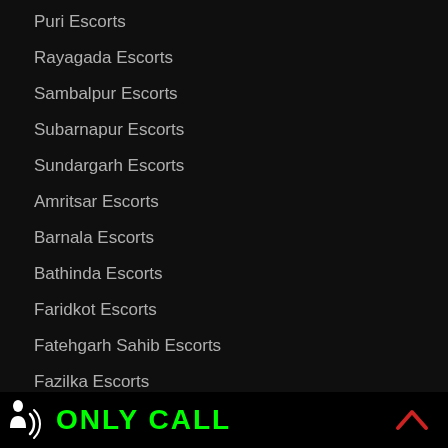Puri Escorts
Rayagada Escorts
Sambalpur Escorts
Subarnapur Escorts
Sundargarh Escorts
Amritsar Escorts
Barnala Escorts
Bathinda Escorts
Faridkot Escorts
Fatehgarh Sahib Escorts
Fazilka Escorts
Firozpur Escorts
Gurdaspur Escorts
ONLY CALL